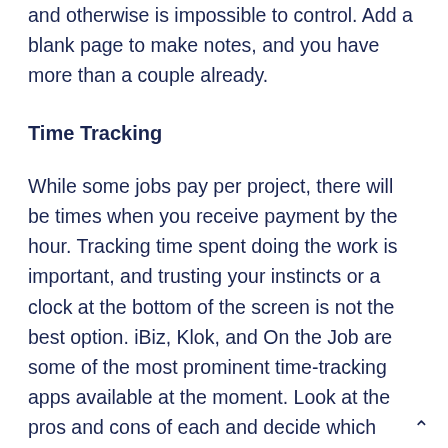and otherwise is impossible to control. Add a blank page to make notes, and you have more than a couple already.
Time Tracking
While some jobs pay per project, there will be times when you receive payment by the hour. Tracking time spent doing the work is important, and trusting your instincts or a clock at the bottom of the screen is not the best option. iBiz, Klok, and On the Job are some of the most prominent time-tracking apps available at the moment. Look at the pros and cons of each and decide which suits you the best.